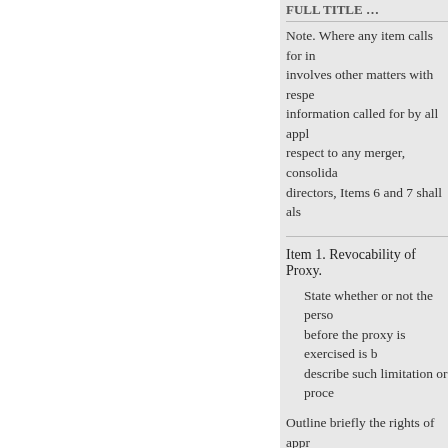…FULL TITLE…
Note. Where any item calls for information that involves other matters with respect to… information called for by all applicable items… respect to any merger, consolidation… directors, Items 6 and 7 shall also…
Item 1. Revocability of Proxy.
State whether or not the person… before the proxy is exercised is b… describe such limitation or proce…
Outline briefly the rights of appr… upon and indicate any statutory p… perfect such rights. Where such r… adoption of a proposal, the filing… solicited will be notified of such…
(a) If the solicitation is made e… director of the issuer who has in… intended to be taken by the mana…
a
« iepriekšējā